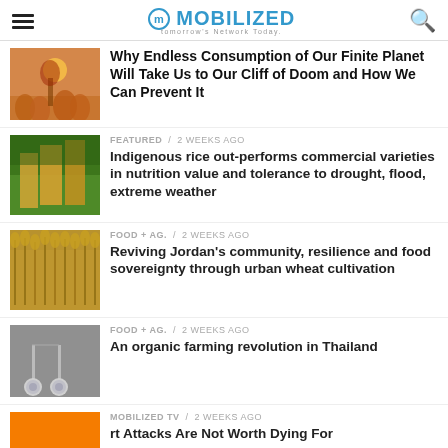MOBILIZED — tomorrow's Network Today
Why Endless Consumption of Our Finite Planet Will Take Us to Our Cliff of Doom and How We Can Prevent It
FEATURED / 2 weeks ago
Indigenous rice out-performs commercial varieties in nutrition value and tolerance to drought, flood, extreme weather
FOOD + AG. / 2 weeks ago
Reviving Jordan's community, resilience and food sovereignty through urban wheat cultivation
FOOD + AG. / 2 weeks ago
An organic farming revolution in Thailand
MOBILIZED TV / 2 weeks ago
rt Attacks Are Not Worth Dying For
Translate »